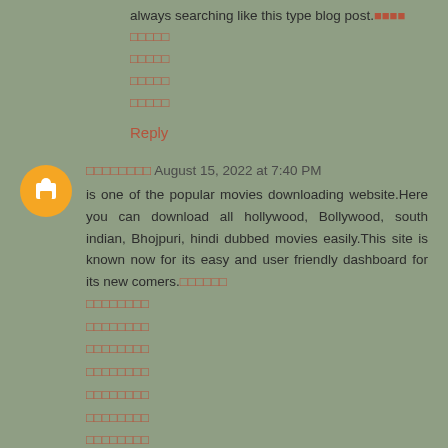always searching like this type blog post.🔲🔲🔲🔲
🔲🔲🔲🔲🔲
🔲🔲🔲🔲🔲
🔲🔲🔲🔲🔲
🔲🔲🔲🔲🔲
Reply
🔲🔲🔲🔲🔲🔲🔲🔲 August 15, 2022 at 7:40 PM
is one of the popular movies downloading website.Here you can download all hollywood, Bollywood, south indian, Bhojpuri, hindi dubbed movies easily.This site is known now for its easy and user friendly dashboard for its new comers.🔲🔲🔲🔲🔲🔲
🔲🔲🔲🔲🔲🔲🔲🔲
🔲🔲🔲🔲🔲🔲🔲🔲
🔲🔲🔲🔲🔲🔲🔲🔲
🔲🔲🔲🔲🔲🔲🔲🔲
🔲🔲🔲🔲🔲🔲🔲🔲
🔲🔲🔲🔲🔲🔲🔲🔲
🔲🔲🔲🔲🔲🔲🔲🔲
🔲🔲🔲🔲🔲🔲🔲🔲